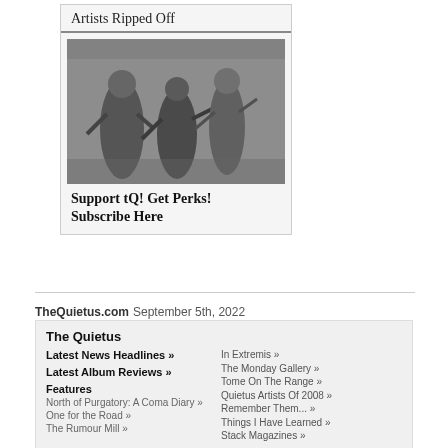Artists Ripped Off
[Figure (photo): Black and white photo of people dancing at a concert or club event]
Support tQ! Get Perks! Subscribe Here
TheQuietus.com September 5th, 2022
The Quietus
Latest News Headlines »
Latest Album Reviews »
Features
North of Purgatory: A Coma Diary »
One for the Road »
The Rumour Mill »
In Extremis »
The Monday Gallery »
Tome On The Range »
Quietus Artists Of 2008 »
Remember Them... »
Things I Have Learned »
Stack Magazines »